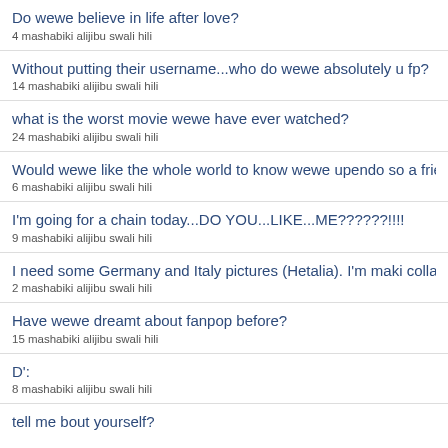Do wewe believe in life after love?
4 mashabiki alijibu swali hili
Without putting their username...who do wewe absolutely u fp?
14 mashabiki alijibu swali hili
what is the worst movie wewe have ever watched?
24 mashabiki alijibu swali hili
Would wewe like the whole world to know wewe upendo so a friend way au not)? If so, who's that?
6 mashabiki alijibu swali hili
I'm going for a chain today...DO YOU...LIKE...ME??????!!!!
9 mashabiki alijibu swali hili
I need some Germany and Italy pictures (Hetalia). I'm maki collage for my bf. May wewe please help me?
2 mashabiki alijibu swali hili
Have wewe dreamt about fanpop before?
15 mashabiki alijibu swali hili
D':
8 mashabiki alijibu swali hili
tell me bout yourself?